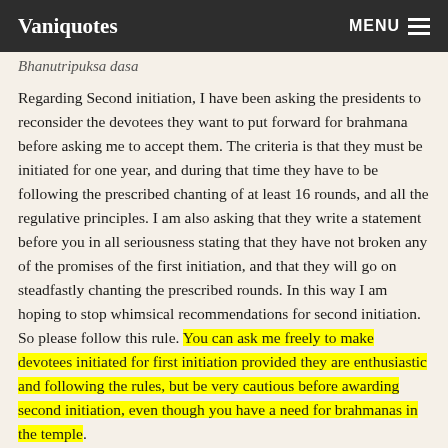Vaniquotes   MENU
Bhanutripuksa dasa
Regarding Second initiation, I have been asking the presidents to reconsider the devotees they want to put forward for brahmana before asking me to accept them. The criteria is that they must be initiated for one year, and during that time they have to be following the prescribed chanting of at least 16 rounds, and all the regulative principles. I am also asking that they write a statement before you in all seriousness stating that they have not broken any of the promises of the first initiation, and that they will go on steadfastly chanting the prescribed rounds. In this way I am hoping to stop whimsical recommendations for second initiation. So please follow this rule. You can ask me freely to make devotees initiated for first initiation provided they are enthusiastic and following the rules, but be very cautious before awarding second initiation, even though you have a need for brahmanas in the temple.